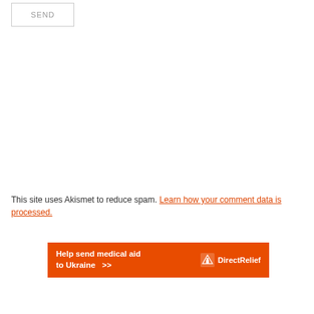SEND
This site uses Akismet to reduce spam. Learn how your comment data is processed.
[Figure (infographic): Orange banner advertisement: Help send medical aid to Ukraine >> with Direct Relief logo]